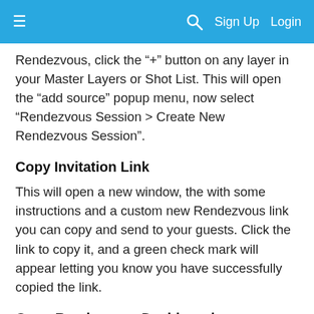≡   🔍   Sign Up   Login
Rendezvous, click the "+" button on any layer in your Master Layers or Shot List. This will open the "add source" popup menu, now select "Rendezvous Session > Create New Rendezvous Session".
Copy Invitation Link
This will open a new window, the with some instructions and a custom new Rendezvous link you can copy and send to your guests. Click the link to copy it, and a green check mark will appear letting you know you have successfully copied the link.
Open Rendezvous Dashboard
Click “OK.” Now a new window, the “Wirecast Rendezvous Dashboard,” will appear. This is where you will manage your audio/video and your guests’